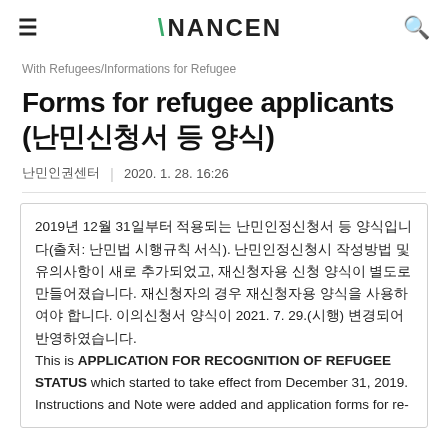≡  \NANCEN  🔍
With Refugees/Informations for Refugee
Forms for refugee applicants (난민신청서 등 양식)
난민인권센터  |  2020. 1. 28. 16:26
2019년 12월 31일부터 적용되는 난민인정신청서 등 양식입니다(출처: 난민법 시행규칙 서식). 난민인정신청시 작성방법 및 유의사항이 새로 추가되었고, 재신청자용 신청 양식이 별도로 만들어졌습니다. 재신청자의 경우 재신청자용 양식을 사용하여야 합니다. 이의신청서 양식이 2021. 7. 29.(시행) 변경되어 반영하였습니다.
This is APPLICATION FOR RECOGNITION OF REFUGEE STATUS which started to take effect from December 31, 2019. Instructions and Note were added and application forms for re-